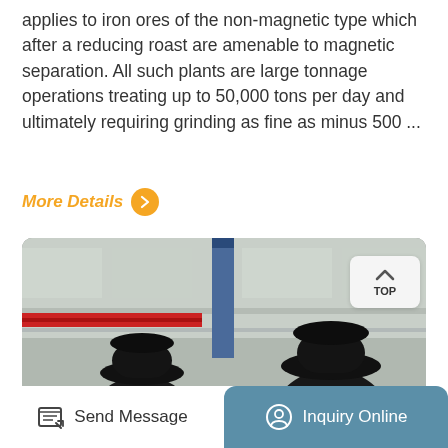applies to iron ores of the non-magnetic type which after a reducing roast are amenable to magnetic separation. All such plants are large tonnage operations treating up to 50,000 tons per day and ultimately requiring grinding as fine as minus 500 ...
More Details >
[Figure (photo): Two large black cone crushers (industrial mining/crushing equipment) sitting on stands in a factory/warehouse setting. The machines are heavy industrial equipment with layered metal flanges. A red crane beam is visible in the background. A 'TOP' navigation button appears in the upper right corner of the image.]
Send Message
Inquiry Online